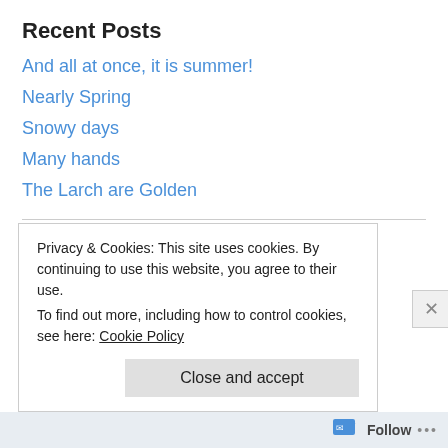Recent Posts
And all at once, it is summer!
Nearly Spring
Snowy days
Many hands
The Larch are Golden
Archives
June 2022
March 2022
January 2022
Privacy & Cookies: This site uses cookies. By continuing to use this website, you agree to their use.
To find out more, including how to control cookies, see here: Cookie Policy
Close and accept
Follow ...